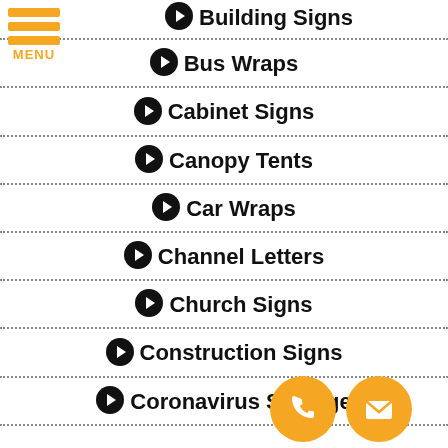[Figure (logo): Orange hamburger menu icon with three horizontal bars and MENU label]
Building Signs
Bus Wraps
Cabinet Signs
Canopy Tents
Car Wraps
Channel Letters
Church Signs
Construction Signs
Coronavirus Signage
[Figure (illustration): Orange circular phone icon (call button)]
[Figure (illustration): Orange circular email/envelope icon (contact button)]